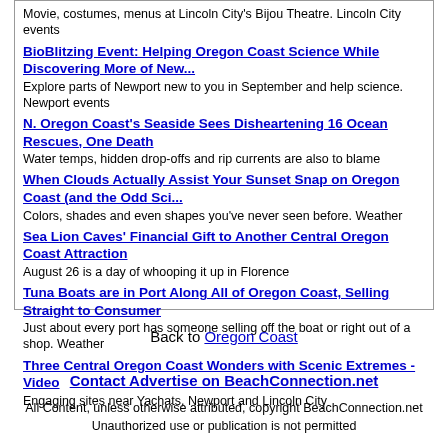Movie, costumes, menus at Lincoln City's Bijou Theatre. Lincoln City events
BioBlitzing Event: Helping Oregon Coast Science While Discovering More of New... | Explore parts of Newport new to you in September and help science. Newport events
N. Oregon Coast's Seaside Sees Disheartening 16 Ocean Rescues, One Death | Water temps, hidden drop-offs and rip currents are also to blame
When Clouds Actually Assist Your Sunset Snap on Oregon Coast (and the Odd Sci... | Colors, shades and even shapes you've never seen before. Weather
Sea Lion Caves' Financial Gift to Another Central Oregon Coast Attraction | August 26 is a day of whooping it up in Florence
Tuna Boats are in Port Along All of Oregon Coast, Selling Straight to Consumer | Just about every port has someone selling off the boat or right out of a shop. Weather
Three Central Oregon Coast Wonders with Scenic Extremes - Video | Engaging sites near Yachats, Newport and Lincoln City
Back to Oregon Coast
Contact Advertise on BeachConnection.net
All Content, unless otherwise attributed, copyright BeachConnection.net Unauthorized use or publication is not permitted